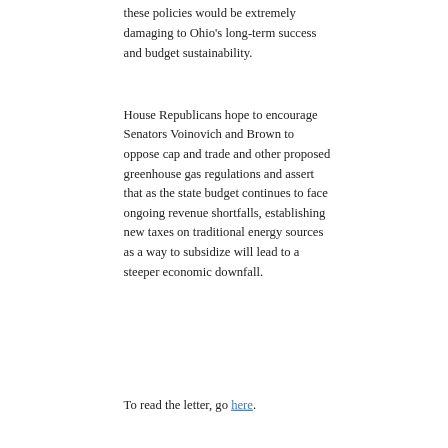these policies would be extremely damaging to Ohio's long-term success and budget sustainability.
House Republicans hope to encourage Senators Voinovich and Brown to oppose cap and trade and other proposed greenhouse gas regulations and assert that as the state budget continues to face ongoing revenue shortfalls, establishing new taxes on traditional energy sources as a way to subsidize will lead to a steeper economic downfall.
To read the letter, go here.
This entry was posted in economy,